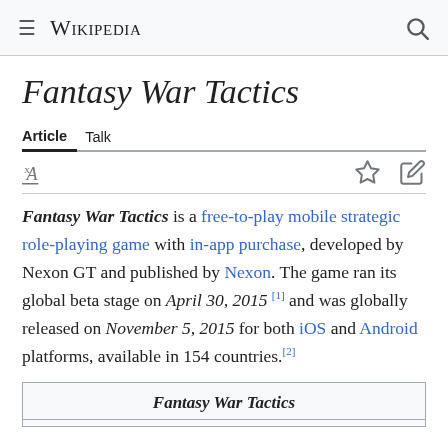Wikipedia
Fantasy War Tactics
Article  Talk
Fantasy War Tactics is a free-to-play mobile strategic role-playing game with in-app purchase, developed by Nexon GT and published by Nexon. The game ran its global beta stage on April 30, 2015 [1] and was globally released on November 5, 2015 for both iOS and Android platforms, available in 154 countries.[2]
Fantasy War Tactics